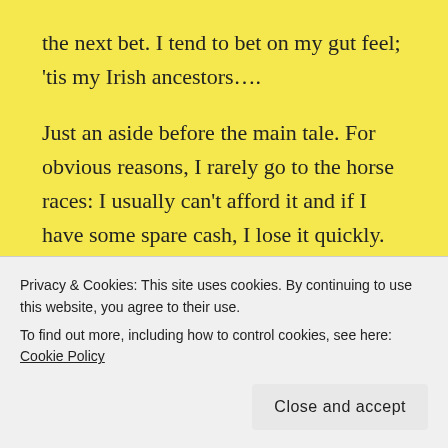the next bet. I tend to bet on my gut feel; 'tis my Irish ancestors….
Just an aside before the main tale. For obvious reasons, I rarely go to the horse races: I usually can't afford it and if I have some spare cash, I lose it quickly. Added to this is the fact that at the time I served on the bench as a magistrate in the city courts. As Dick Francis so well describes, racecourses attract shady characters with whom I should not socialise.
Privacy & Cookies: This site uses cookies. By continuing to use this website, you agree to their use.
To find out more, including how to control cookies, see here: Cookie Policy